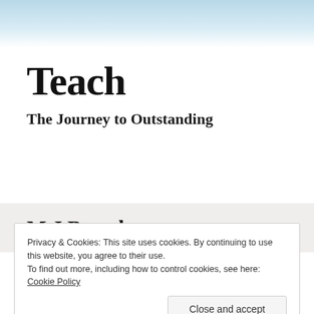[Figure (illustration): Light blue to white gradient header band at the top of the page]
Teach
The Journey to Outstanding
M J Bromley
Privacy & Cookies: This site uses cookies. By continuing to use this website, you agree to their use.
To find out more, including how to control cookies, see here: Cookie Policy
Close and accept